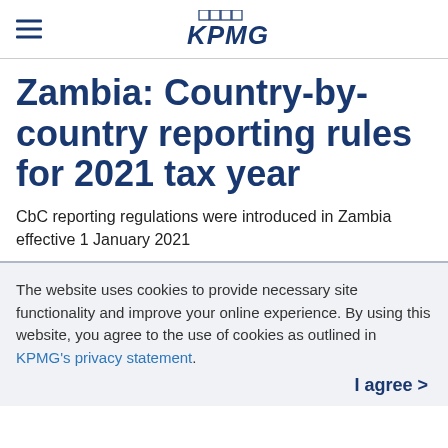KPMG
Zambia: Country-by-country reporting rules for 2021 tax year
CbC reporting regulations were introduced in Zambia effective 1 January 2021
The website uses cookies to provide necessary site functionality and improve your online experience. By using this website, you agree to the use of cookies as outlined in KPMG's privacy statement.
I agree >